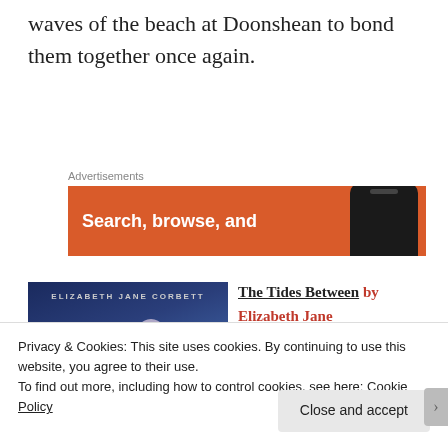waves of the beach at Doonshean to bond them together once again.
Advertisements
[Figure (screenshot): Advertisement banner with orange background showing text 'Search, browse, and' with a phone image on the right]
[Figure (photo): Book cover for 'The Tides Between' by Elizabeth Jane Corbett, dark blue background with moon imagery]
The Tides Between by Elizabeth Jane Corbett
Privacy & Cookies: This site uses cookies. By continuing to use this website, you agree to their use.
To find out more, including how to control cookies, see here: Cookie Policy